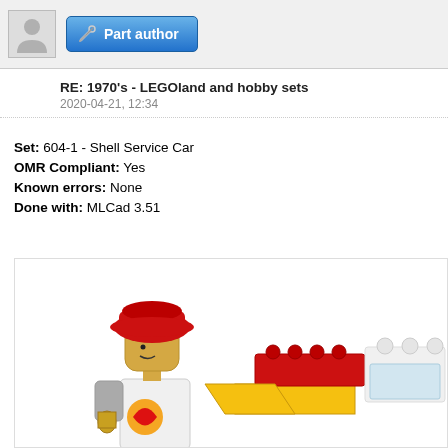[Figure (illustration): User avatar placeholder and Part author badge button with tools icon]
RE: 1970's - LEGOland and hobby sets
2020-04-21, 12:34
Set: 604-1 - Shell Service Car
OMR Compliant: Yes
Known errors: None
Done with: MLCad 3.51
[Figure (illustration): 3D rendered LEGO minifigure with red hat and Shell logo uniform, with red and yellow LEGO bricks/car parts visible]